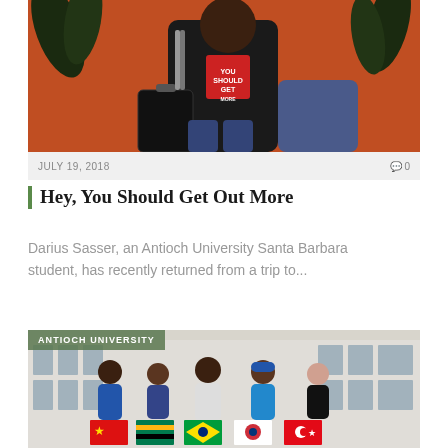[Figure (photo): Person in black t-shirt with 'You Should Get Out More' graphic, sitting with a dark suitcase in front of orange background with tropical plants]
JULY 19, 2018
0
Hey, You Should Get Out More
Darius Sasser, an Antioch University Santa Barbara student, has recently returned from a trip to...
[Figure (photo): Group of students standing in front of a building holding national flags including China, South Africa, Brazil, South Korea, and Turkey flags. Label reads ANTIOCH UNIVERSITY.]